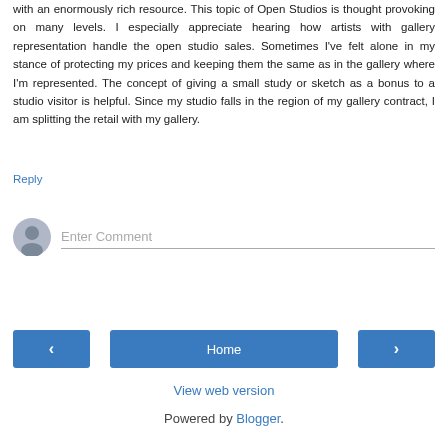with an enormously rich resource. This topic of Open Studios is thought provoking on many levels. I especially appreciate hearing how artists with gallery representation handle the open studio sales. Sometimes I've felt alone in my stance of protecting my prices and keeping them the same as in the gallery where I'm represented. The concept of giving a small study or sketch as a bonus to a studio visitor is helpful. Since my studio falls in the region of my gallery contract, I am splitting the retail with my gallery.
Reply
Enter Comment
Home
View web version
Powered by Blogger.